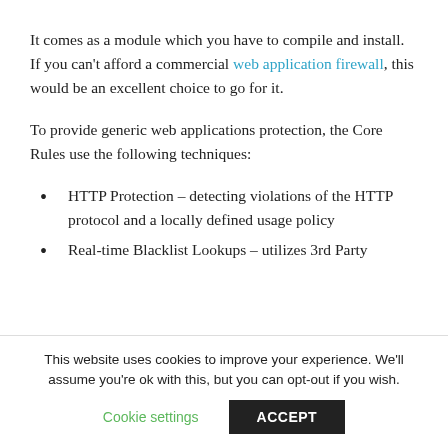It comes as a module which you have to compile and install. If you can't afford a commercial web application firewall, this would be an excellent choice to go for it.
To provide generic web applications protection, the Core Rules use the following techniques:
HTTP Protection – detecting violations of the HTTP protocol and a locally defined usage policy
Real-time Blacklist Lookups – utilizes 3rd Party
This website uses cookies to improve your experience. We'll assume you're ok with this, but you can opt-out if you wish.